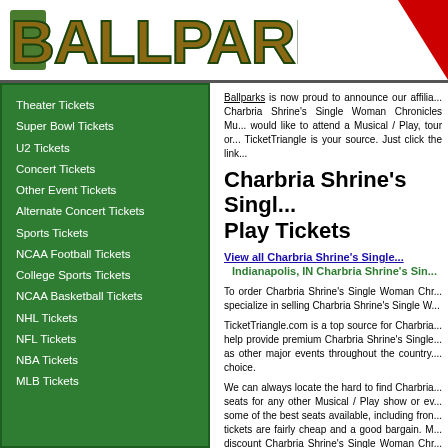[Figure (logo): BALLPARKS logo with photo-collage letters in green/brown tones, and a red triangle on the right]
Theater Tickets
Super Bowl Tickets
U2 Tickets
Concert Tickets
Other Event Tickets
Alternate Concert Tickets
Sports Tickets
NCAA Football Tickets
College Sports Tickets
NCAA Basketball Tickets
NHL Tickets
NFL Tickets
NBA Tickets
MLB Tickets
Ballparks is now proud to announce our affiliation with Charbria Shrine's Single Woman Chronicles Mu... would like to attend a Musical / Play, tour or... TicketTriangle is your source. Just click the link...
Charbria Shrine's Single... Play Tickets
View all Charbria Shrine's Single...
Indianapolis, IN Charbria Shrine's Sin...
To order Charbria Shrine's Single Woman Chr... specialize in selling Charbria Shrine's Single W...
TicketTriangle.com is a top source for Charbria... help provide premium Charbria Shrine's Single... as other major events throughout the country... choice.
We can always locate the hard to find Charbria... seats for any other Musical / Play show or ev... some of the best seats available, including fron... tickets are fairly cheap and a good bargain. M... discount Charbria Shrine's Single Woman Chr... days a week.